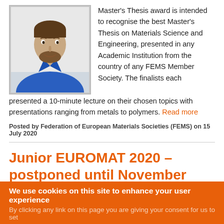[Figure (photo): Young man with beard wearing a blue polo shirt, smiling, against a light background.]
Master's Thesis award is intended to recognise the best Master's Thesis on Materials Science and Engineering, presented in any Academic Institution from the country of any FEMS Member Society. The finalists each presented a 10-minute lecture on their chosen topics with presentations ranging from metals to polymers. Read more
Posted by Federation of European Materials Societies (FEMS) on 15 July 2020
Junior EUROMAT 2020 – postponed until November
The current global health crisis we are suffering has forced us to reconsider the dates for Junior EUROMAT 2020. The
We use cookies on this site to enhance your user experience
By clicking any link on this page you are giving your consent for us to set